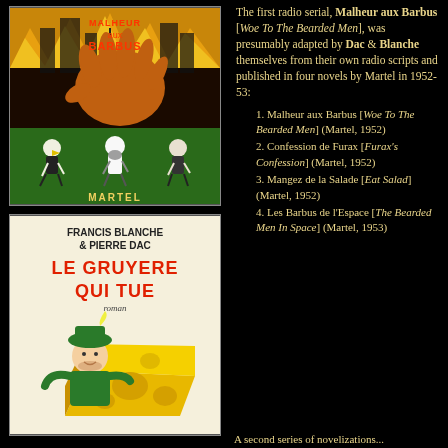[Figure (illustration): Book cover of 'Malheur aux Barbus' published by Martel, showing a giant hand over a burning city with three bearded men running away, red and yellow flame motifs]
[Figure (illustration): Book cover of 'Le Gruyere Qui Tue' by Francis Blanche & Pierre Dac, roman, showing a cartoon man in green hat with large cheese block, cream/off-white background]
The first radio serial, Malheur aux Barbus [Woe To The Bearded Men], was presumably adapted by Dac & Blanche themselves from their own radio scripts and published in four novels by Martel in 1952-53:
1. Malheur aux Barbus [Woe To The Bearded Men] (Martel, 1952)
2. Confession de Furax [Furax's Confession] (Martel, 1952)
3. Mangez de la Salade [Eat Salad] (Martel, 1952)
4. Les Barbus de l'Espace [The Bearded Men In Space] (Martel, 1953)
A second series of novelizations...